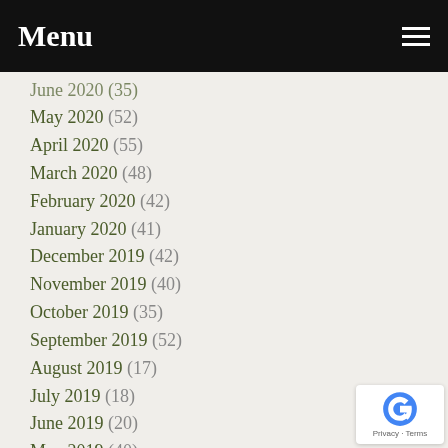Menu
May 2020 (52)
April 2020 (55)
March 2020 (48)
February 2020 (42)
January 2020 (41)
December 2019 (42)
November 2019 (40)
October 2019 (35)
September 2019 (52)
August 2019 (17)
July 2019 (18)
June 2019 (20)
May 2019 (40)
April 2019 (50)
March 2019 (50)
February 2019 (16)
January 2019 (19)
December 2018 (5)